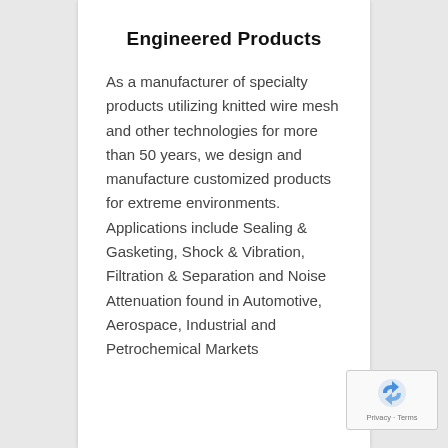Engineered Products
As a manufacturer of specialty products utilizing knitted wire mesh and other technologies for more than 50 years, we design and manufacture customized products for extreme environments. Applications include Sealing & Gasketing, Shock & Vibration, Filtration & Separation and Noise Attenuation found in Automotive, Aerospace, Industrial and Petrochemical Markets
[Figure (logo): reCAPTCHA badge with spinning arrow logo and Privacy · Terms text]